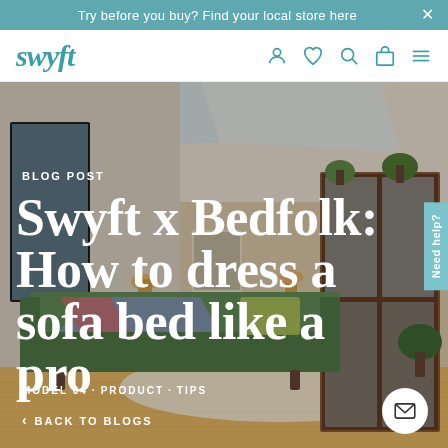Try before you buy? Find your local store here
[Figure (logo): Swyft logo in teal italic serif font, with navigation icons (user, heart, search, bag, menu)]
[Figure (photo): Interior room photo showing a green sofa bed with a blue/pink throw blanket, wooden display cabinet with plants, skylights, wood floor, and various plants. Blog post hero image.]
BLOG POST
Swyft x Bedfolk: How to dress a sofa bed like a pro
MODEL 04 · PRODUCT · TIPS
< BACK TO BLOGS